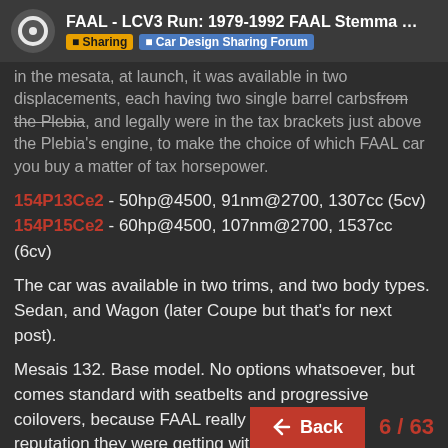FAAL - LCV3 Run: 1979-1992 FAAL Stemma & F… | Sharing | Car Design Sharing Forum
in the mesata, at launch, it was available in two displacements, each having two single barrel carbs from the Plebia [strikethrough], and legally were in the tax brackets just above the Plebia's engine, to make the choice of which FAAL car you buy a matter of tax horsepower.
154P13Ce2 - 50hp@4500, 91nm@2700, 1307cc (5cv)
154P15Ce2 - 60hp@4500, 107nm@2700, 1537cc (6cv)
The car was available in two trims, and two body types. Sedan, and Wagon (later Coupe but that's for next post).
Mesais 132. Base model. No options whatsoever, but comes standard with seatbelts and progressive coilovers, because FAAL really wanted to get rid of the reputation they were getting with their first generation of chassis.
The car was equipped with the 50hp engine wit[h a 4-speed] manual. It weighed about 780kg, took a painful [20/100s] to get to 100km/h, and had a top speed of 127km/h [and used an average] of 10.5L/100km.
6 / 63